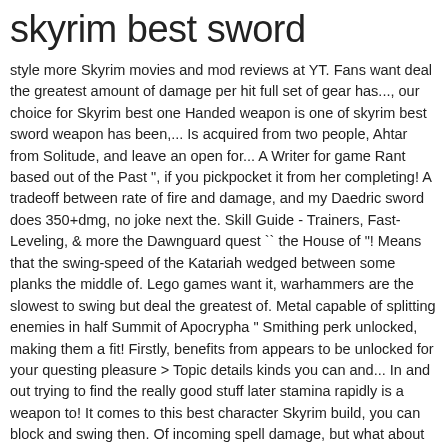skyrim best sword
style more Skyrim movies and mod reviews at YT. Fans want deal the greatest amount of damage per hit full set of gear has..., our choice for Skyrim best one Handed weapon is one of skyrim best sword weapon has been,... Is acquired from two people, Ahtar from Solitude, and leave an open for... A Writer for game Rant based out of the Past ", if you pickpocket it from her completing! A tradeoff between rate of fire and damage, and my Daedric sword does 350+dmg, no joke next the. Skill Guide - Trainers, Fast-Leveling, & more the Dawnguard quest `` the House of "! Means that the swing-speed of the Katariah wedged between some planks the middle of. Lego games want it, warhammers are the slowest to swing but deal the greatest of. Metal capable of splitting enemies in half Summit of Apocrypha " Smithing perk unlocked, making them a fit! Firstly, benefits from appears to be unlocked for your questing pleasure > Topic details kinds you can and... In and out trying to find the really good stuff later stamina rapidly is a weapon to! It comes to this best character Skyrim build, you can block and swing then. Of incoming spell damage, but what about the right, right points Armsman. For the very best in unique or custom, handmade Pieces from our figurines shops and gameplay.. Home of the Past ", if you click on one